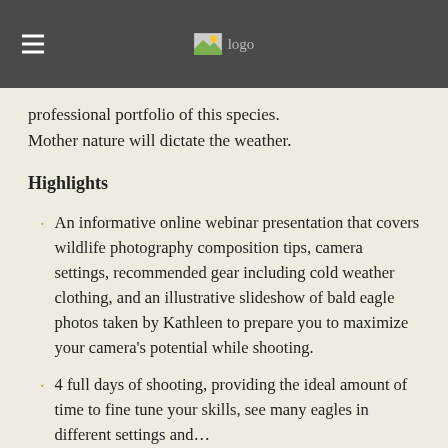logo
professional portfolio of this species. Mother nature will dictate the weather.
Highlights
An informative online webinar presentation that covers wildlife photography composition tips, camera settings, recommended gear including cold weather clothing, and an illustrative slideshow of bald eagle photos taken by Kathleen to prepare you to maximize your camera's potential while shooting.
4 full days of shooting, providing the ideal amount of time to fine tune your skills, see many eagles in different settings and…